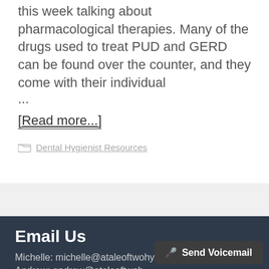this week talking about pharmacological therapies. Many of the drugs used to treat PUD and GERD can be found over the counter, and they come with their individual ...
[Read more...]
Dental Hygienist Resources
Email Us
Michelle: michelle@ataleoftwohygienists.com
Andrew: andrew@ataleoftwoh...
General: admin@ataleoftwohygienists.com
Send Voicemail